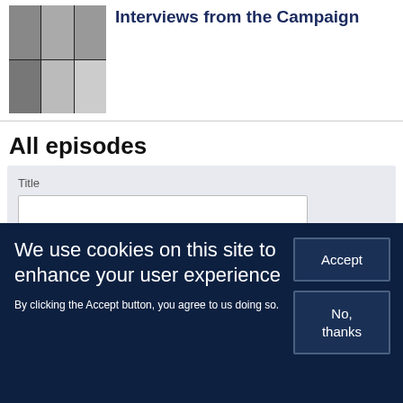[Figure (photo): Oxford University Press book cover with a grid of six black and white portrait photos]
Interviews from the Campaign
All episodes
Title
We use cookies on this site to enhance your user experience
By clicking the Accept button, you agree to us doing so.